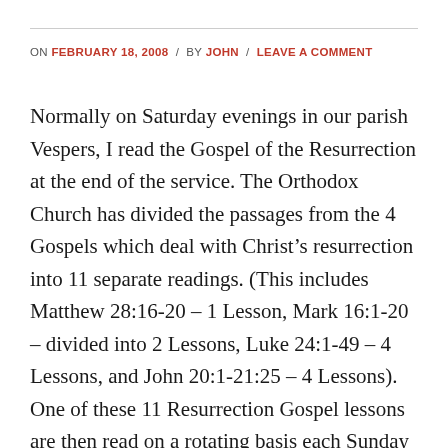ON FEBRUARY 18, 2008 / BY JOHN / LEAVE A COMMENT
Normally on Saturday evenings in our parish Vespers, I read the Gospel of the Resurrection at the end of the service. The Orthodox Church has divided the passages from the 4 Gospels which deal with Christ's resurrection into 11 separate readings. (This includes Matthew 28:16-20 – 1 Lesson, Mark 16:1-20 – divided into 2 Lessons, Luke 24:1-49 – 4 Lessons, and John 20:1-21:25 – 4 Lessons). One of these 11 Resurrection Gospel lessons are then read on a rotating basis each Sunday as a way of proclaiming the Resurrection of Christ from the dead – the main message of Christianity itself.